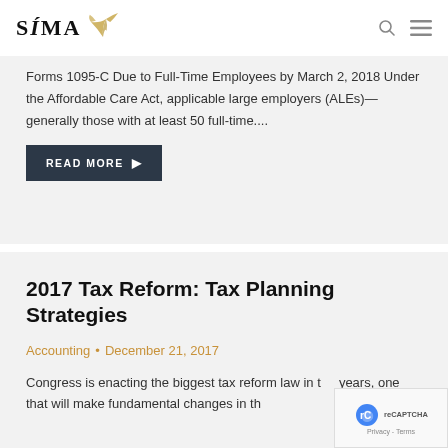SÍMA
Forms 1095-C Due to Full-Time Employees by March 2, 2018 Under the Affordable Care Act, applicable large employers (ALEs)—generally those with at least 50 full-time....
READ MORE ▶
2017 Tax Reform: Tax Planning Strategies
Accounting • December 21, 2017
Congress is enacting the biggest tax reform law in t… years, one that will make fundamental changes in the…